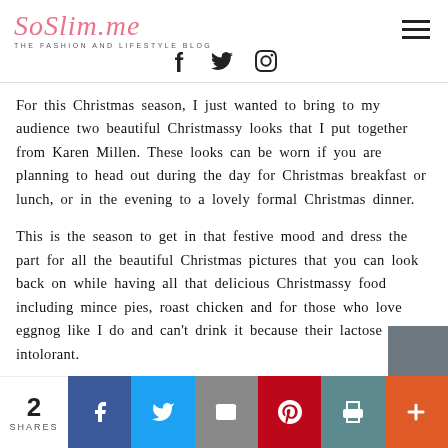SoSlim.me — The Fashion and Lifestyle Blog
For this Christmas season, I just wanted to bring to my audience two beautiful Christmassy looks that I put together from Karen Millen. These looks can be worn if you are planning to head out during the day for Christmas breakfast or lunch, or in the evening to a lovely formal Christmas dinner.
This is the season to get in that festive mood and dress the part for all the beautiful Christmas pictures that you can look back on while having all that delicious Christmassy food including mince pies, roast chicken and for those who love eggnog like I do and can't drink it because their lactose intolorant.
2 SHARES — Share buttons: Facebook, Twitter, Email, Pinterest, Print, Plus